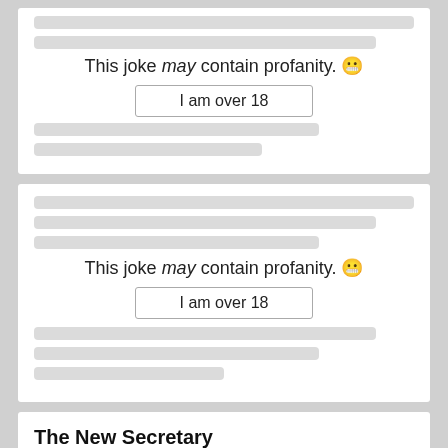[Figure (screenshot): Card 1: Top portion of a joke card with blurred/redacted content, showing profanity warning text 'This joke may contain profanity.' and an 'I am over 18' button, with blurred lines above and below.]
[Figure (screenshot): Card 2: Full joke card with blurred/redacted content, showing profanity warning text 'This joke may contain profanity.' and an 'I am over 18' button, with blurred lines above and below.]
The New Secretary
The CEO of a large company was in need of a secretary. He needed help, but also wanted...